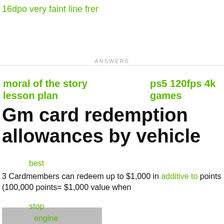16dpo very faint line frer
ANSWERS
moral of the story lesson plan
ps5 120fps 4k games
Gm card redemption allowances by vehicle
best
3 Cardmembers can redeem up to $1,000 in additive to points (100,000 points= $1,000 value when
stop
engine